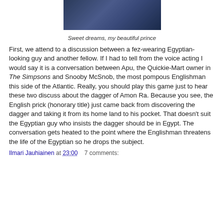[Figure (photo): Top-down view of a scene with blue-toned objects arranged on a dark surface, partially cropped at top]
Sweet dreams, my beautiful prince
First, we attend to a discussion between a fez-wearing Egyptian-looking guy and another fellow. If I had to tell from the voice acting I would say it is a conversation between Apu, the Quickie-Mart owner in The Simpsons and Snooby McSnob, the most pompous Englishman this side of the Atlantic. Really, you should play this game just to hear these two discuss about the dagger of Amon Ra. Because you see, the English prick (honorary title) just came back from discovering the dagger and taking it from its home land to his pocket. That doesn’t suit the Egyptian guy who insists the dagger should be in Egypt. The conversation gets heated to the point where the Englishman threatens the life of the Egyptian so he drops the subject.
Ilmari Jauhiainen at 23:00    7 comments: